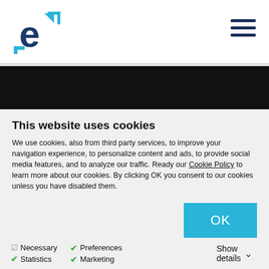[Figure (logo): Enel 'e' logo in blue with stylized arrow/corner marks]
[Figure (other): Hamburger menu icon with three horizontal dark navy lines]
[Figure (other): Dark black banner/image strip]
This website uses cookies
We use cookies, also from third party services, to improve your navigation experience, to personalize content and ads, to provide social media features, and to analyze our traffic. Ready our Cookie Policy to learn more about our cookies. By clicking OK you consent to our cookies unless you have disabled them.
[Figure (other): OK button in light blue]
Necessary
Statistics
Preferences
Marketing
Show details